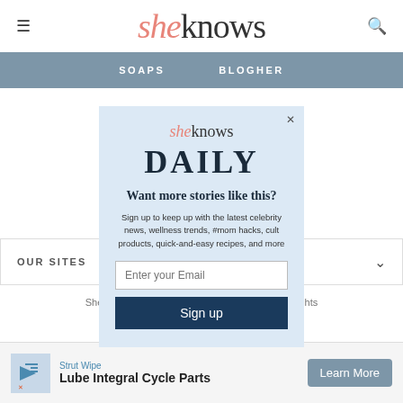≡  sheknows  🔍
SOAPS   BLOGHER
[Figure (screenshot): Modal popup newsletter signup for SheKnows Daily with email input and Sign up button on light blue background]
OUR SITES
SheKnows is a pa… lia, LLC. All Rights
[Figure (infographic): Advertisement banner: StrutWipe - Lube Integral Cycle Parts - Learn More button]